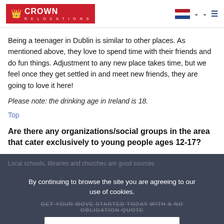Crown Relocations
Being a teenager in Dublin is similar to other places. As mentioned above, they love to spend time with their friends and do fun things. Adjustment to any new place takes time, but we feel once they get settled in and meet new friends, they are going to love it here!
Please note: the drinking age in Ireland is 18.
Top
Are there any organizations/social groups in the area that cater exclusively to young people ages 12-17?
Local schools, libraries and churches are good sources
By continuing to browse the site you are agreeing to our use of cookies.
GET YOUR MOVE STARTED TODAY WITH A NO OBLIGATION QUOTE
OK, thanks